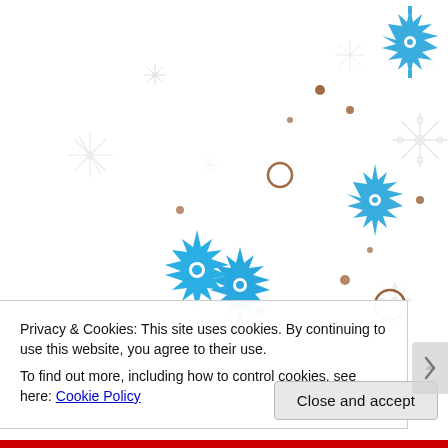[Figure (illustration): Decorative winter/Christmas illustration with blue snowflakes, gray snowflakes, and brown swirling ornamental flourishes on a white background, scattered small orange/brown dots]
Privacy & Cookies: This site uses cookies. By continuing to use this website, you agree to their use.
To find out more, including how to control cookies, see here: Cookie Policy
Close and accept